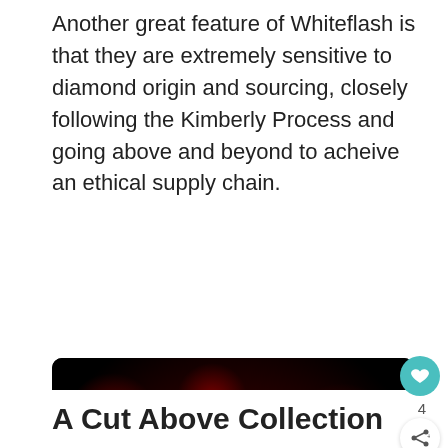Another great feature of Whiteflash is that they are extremely sensitive to diamond origin and sourcing, closely following the Kimberly Process and going above and beyond to acheive an ethical supply chain.
[Figure (photo): Promotional jewelry image showing a large brilliant-cut diamond with a pink flower and gold ribbon on a dark red bokeh background. Small diamond icons and decorative elements surround the center stone. Caption reads: 'A CUT ABOVE® Collection Series – Colorless VVS Super Ide']
A Cut Above Collection